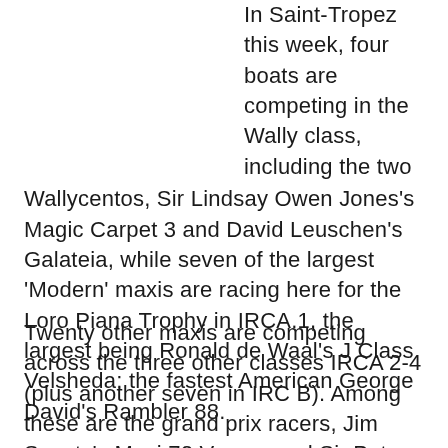In Saint-Tropez this week, four boats are competing in the Wally class, including the two Wallycentos, Sir Lindsay Owen Jones's Magic Carpet 3 and David Leuschen's Galateia, while seven of the largest 'Modern' maxis are racing here for the Loro Piana Trophy in IRCA.1, the largest being Ronald de Waal's J Class Velsheda; the fastest American George David's Rambler 88.
Twenty other maxis are competing across the three other classes IRCA 2-4 (plus another seven in IRC B). Among these are the grand prix racers, Jim Swartz's Maxi 72 Vesper and Sir Peter Ogden's 77ft Jethou in IRCA.4.